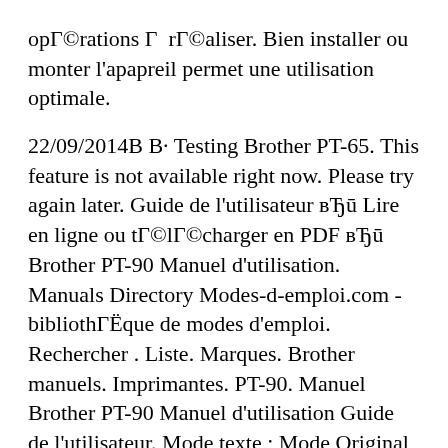opГ©rations Г rГ©aliser. Bien installer ou monter l'apapreil permet une utilisation optimale.
22/09/2014В В· Testing Brother PT-65. This feature is not available right now. Please try again later. Guide de l'utilisateur вЂū Lire en ligne ou tГ©lГ©charger en PDF вЂū Brother PT-90 Manuel d'utilisation. Manuals Directory Modes-d-emploi.com - bibliothГЁque de modes d'emploi. Rechercher . Liste. Marques. Brother manuels. Imprimantes. PT-90. Manuel Brother PT-90 Manuel d'utilisation Guide de l'utilisateur. Mode texte ; Mode Original 1; Advertising. Introduction. L'Г©tiqueteuse PT-90 vous
РЎ…